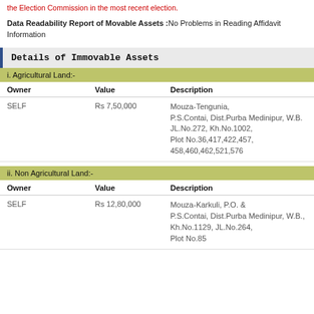the Election Commission in the most recent election.
Data Readability Report of Movable Assets :No Problems in Reading Affidavit Information
Details of Immovable Assets
i. Agricultural Land:-
| Owner | Value | Description |
| --- | --- | --- |
| SELF | Rs 7,50,000 | Mouza-Tengunia, P.S.Contai, Dist.Purba Medinipur, W.B. JL.No.272, Kh.No.1002, Plot No.36,417,422,457, 458,460,462,521,576 |
ii. Non Agricultural Land:-
| Owner | Value | Description |
| --- | --- | --- |
| SELF | Rs 12,80,000 | Mouza-Karkuli, P.O. & P.S.Contai, Dist.Purba Medinipur, W.B., Kh.No.1129, JL.No.264, Plot No.85 |